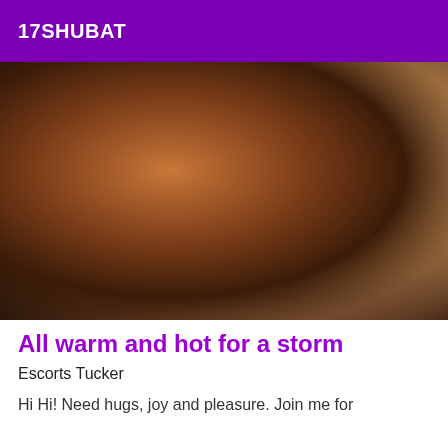17SHUBAT
[Figure (photo): Close-up photo of a person's body in a swimsuit/bikini bottom, posed in a crouched position against a neutral background.]
All warm and hot for a storm
Escorts Tucker
Hi Hi! Need hugs, joy and pleasure. Join me for